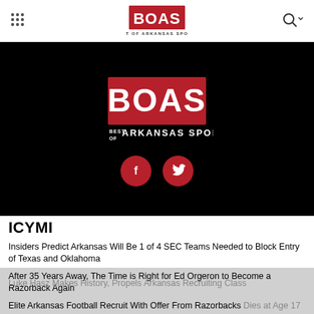BOAS - Best of Arkansas Sports navigation bar
[Figure (logo): BOAS Best of Arkansas Sports logo on black hero background with Facebook and Twitter social buttons]
ICYMI
Insiders Predict Arkansas Will Be 1 of 4 SEC Teams Needed to Block Entry of Texas and Oklahoma
After 35 Years Away, The Time is Right for Ed Orgeron to Become a Razorback Again
Elite Arkansas Football Recruit With Offer From Razorbacks Dies at Age 17
Luke Hasz Makes History, Propels Arkansas Recruiting Class